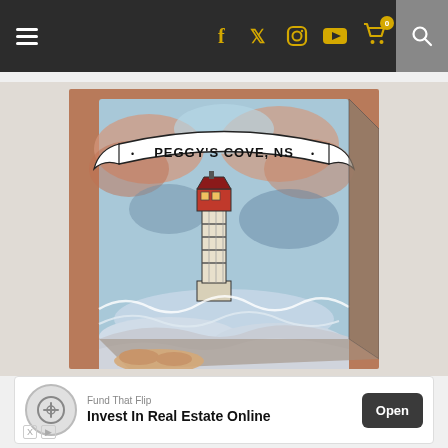Navigation bar with hamburger menu, social icons (f, twitter, instagram, youtube, cart with badge 0), and search
[Figure (photo): A hand holding a 3D paper cube craft with illustrated artwork of Peggy's Cove, NS lighthouse scene. The cube shows a watercolor-style illustration with a lighthouse, waves, clouds, and a banner reading PEGGY'S COVE, NS. Background shows red shingles.]
Fund That Flip
Invest In Real Estate Online
Open